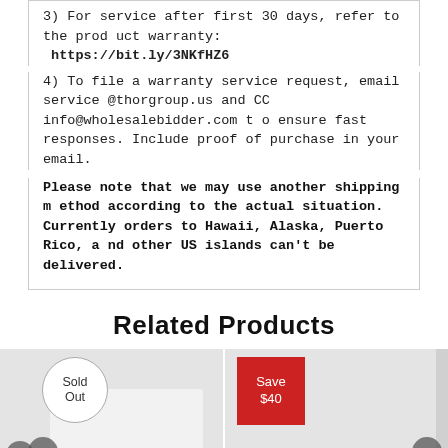3) For service after first 30 days, refer to the product warranty: https://bit.ly/3NKfHZ6
4) To file a warranty service request, email service@thorgroup.us and CC info@wholesalebidder.com to ensure fast responses. Include proof of purchase in your email.
Please note that we may use another shipping method according to the actual situation. Currently orders to Hawaii, Alaska, Puerto Rico, and other US islands can't be delivered.
Related Products
[Figure (photo): Two product cards side by side. Left card has a 'Sold Out' circular badge and shows a white product image. Right card has a red 'Save $40' badge and shows another product. Navigation arrows visible on left and right sides.]